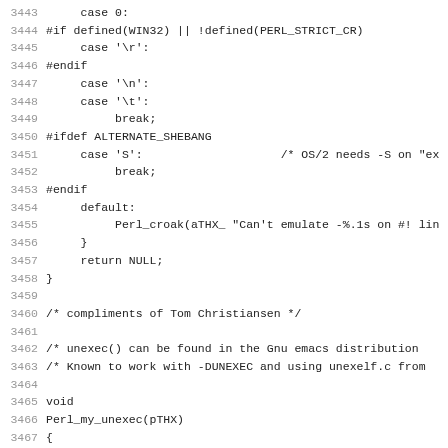C source code lines 3443-3474 showing switch/case statements, preprocessor directives, and function definition for Perl_my_unexec